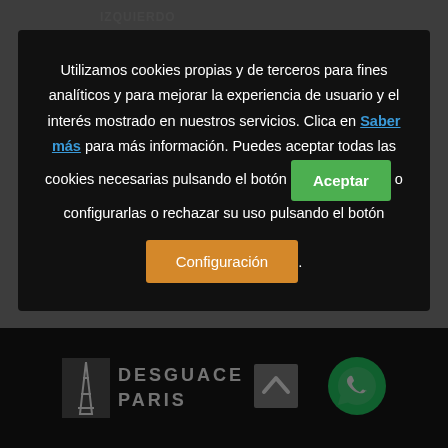IZQUIERDO
ELEVALUNAS ELÉCTRICO DELANTERO IZQUIERDO TOYOTA LAND CRUISER 80 4.2 TD (HDJ80) (116 KW / 163 CV)
Utilizamos cookies propias y de terceros para fines analíticos y para mejorar la experiencia de usuario y el interés mostrado en nuestros servicios. Clica en Saber más para más información. Puedes aceptar todas las cookies necesarias pulsando el botón Aceptar o configurarlas o rechazar su uso pulsando el botón Configuración.
[Figure (logo): Desguace Paris logo with Eiffel Tower icon and text DESGUACE PARIS]
[Figure (other): WhatsApp contact button (green circle with phone icon)]